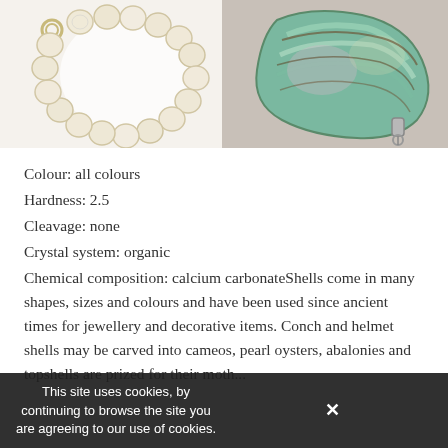[Figure (photo): Photo of a white/cream mother-of-pearl coin bracelet arranged in a circle on a white background]
[Figure (photo): Close-up photo of an iridescent abalone shell pendant with green and pink hues, with a silver clasp, on a textured gray background]
Colour: all colours
Hardness: 2.5
Cleavage: none
Crystal system: organic
Chemical composition: calcium carbonateShells come in many shapes, sizes and colours and have been used since ancient times for jewellery and decorative items. Conch and helmet shells may be carved into cameos, pearl oysters, abalonies and topshells are prized for their moth...
This site uses cookies, by continuing to browse the site you are agreeing to our use of cookies.